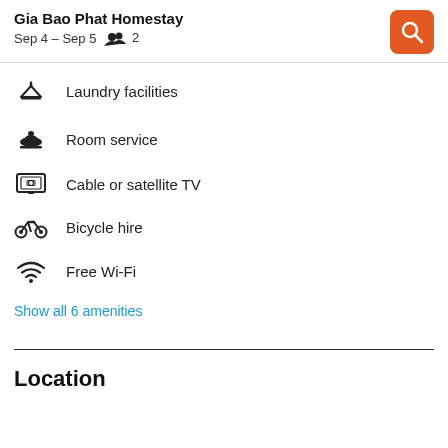Gia Bao Phat Homestay — Sep 4 – Sep 5 — 2
Laundry facilities
Room service
Cable or satellite TV
Bicycle hire
Free Wi-Fi
Show all 6 amenities
Location